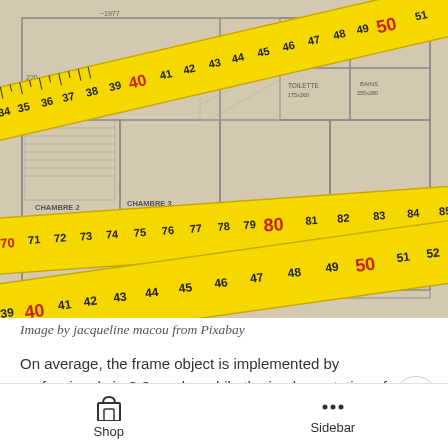[Figure (photo): Architectural floor plan blueprint with yellow measuring tapes overlaid diagonally across it. The blueprint shows rooms labeled CHAMBRE 1 (320x420), CHAMBRE 2, CHAMBRE 3 (260x310), BUREAU (240x325), TOILETTE (175x260), BAINS (255x280), douche (100x100), WC (100x45). The tape measures show numbers ranging from 34 to 85+ in sequence.]
Image by jacqueline macou from Pixabay
On average, the frame object is implemented by professionals in 2-3 weeks, while the implementation of the attic project can take up to two months.